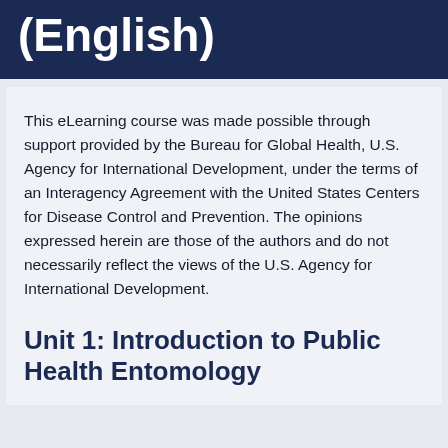(English)
This eLearning course was made possible through support provided by the Bureau for Global Health, U.S. Agency for International Development, under the terms of an Interagency Agreement with the United States Centers for Disease Control and Prevention. The opinions expressed herein are those of the authors and do not necessarily reflect the views of the U.S. Agency for International Development.
Unit 1: Introduction to Public Health Entomology